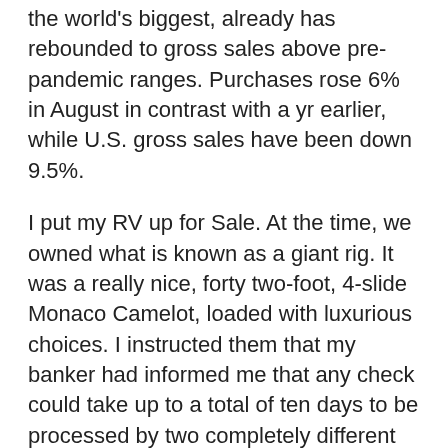the world's biggest, already has rebounded to gross sales above pre-pandemic ranges. Purchases rose 6% in August in contrast with a yr earlier, while U.S. gross sales have been down 9.5%.
I put my RV up for Sale. At the time, we owned what is known as a giant rig. It was a really nice, forty two-foot, 4-slide Monaco Camelot, loaded with luxurious choices. I instructed them that my banker had informed me that any check could take up to a total of ten days to be processed by two completely different banks.
The passenger vehicles phase might be leading the market in the course of the forecast period. Your job is just starting. Until the shopper says no, there isn't a closing course of. The salesperson's job is to overcome objections and